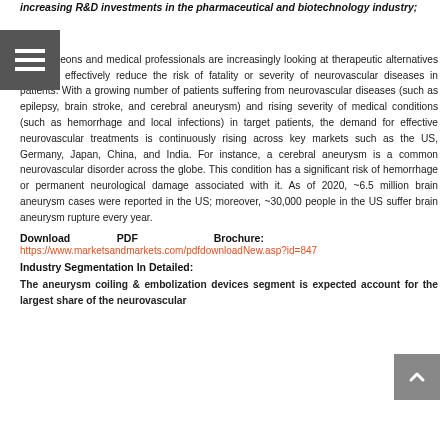increasing R&D investments in the pharmaceutical and biotechnology industry;
Neurosurgeons and medical professionals are increasingly looking at therapeutic alternatives that can effectively reduce the risk of fatality or severity of neurovascular diseases in patients. With a growing number of patients suffering from neurovascular diseases (such as epilepsy, brain stroke, and cerebral aneurysm) and rising severity of medical conditions (such as hemorrhage and local infections) in target patients, the demand for effective neurovascular treatments is continuously rising across key markets such as the US, Germany, Japan, China, and India. For instance, a cerebral aneurysm is a common neurovascular disorder across the globe. This condition has a significant risk of hemorrhage or permanent neurological damage associated with it. As of 2020, ~6.5 million brain aneurysm cases were reported in the US; moreover, ~30,000 people in the US suffer brain aneurysm rupture every year.
Download PDF Brochure: https://www.marketsandmarkets.com/pdfdownloadNew.asp?id=847
Industry Segmentation In Detailed:
The aneurysm coiling & embolization devices segment is expected account for the largest share of the neurovascular...